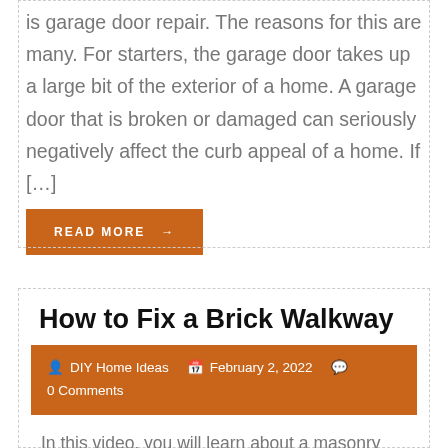is garage door repair. The reasons for this are many. For starters, the garage door takes up a large bit of the exterior of a home. A garage door that is broken or damaged can seriously negatively affect the curb appeal of a home. If […]
READ MORE →
How to Fix a Brick Walkway
DIY Home Ideas   February 2, 2022   0 Comments
In this video, you will learn about a masonry service are times when it is a good idea to hire a mason rather than